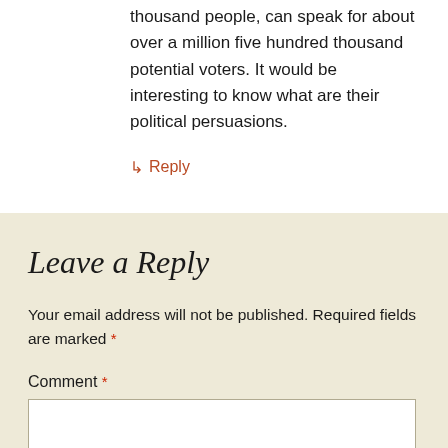thousand people, can speak for about over a million five hundred thousand potential voters. It would be interesting to know what are their political persuasions.
↳ Reply
Leave a Reply
Your email address will not be published. Required fields are marked *
Comment *